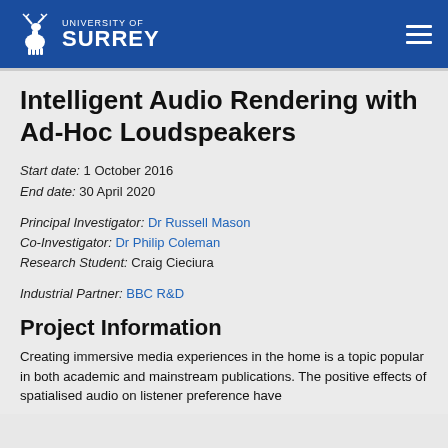University of Surrey
Intelligent Audio Rendering with Ad-Hoc Loudspeakers
Start date: 1 October 2016
End date: 30 April 2020
Principal Investigator: Dr Russell Mason
Co-Investigator: Dr Philip Coleman
Research Student: Craig Cieciura
Industrial Partner: BBC R&D
Project Information
Creating immersive media experiences in the home is a topic popular in both academic and mainstream publications. The positive effects of spatialised audio on listener preference have